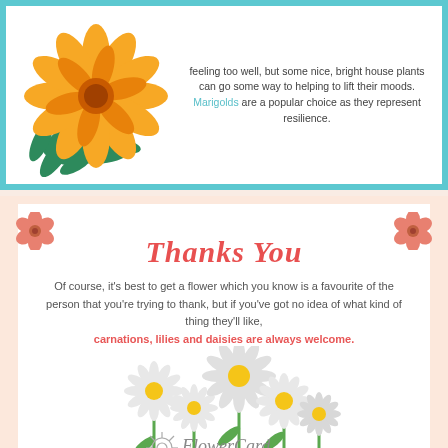feeling too well, but some nice, bright house plants can go some way to helping to lift their moods. Marigolds are a popular choice as they represent resilience.
[Figure (illustration): Orange marigold flower with green leaves illustration in top-left of teal-bordered white box]
Thanks You
Of course, it's best to get a flower which you know is a favourite of the person that you're trying to thank, but if you've got no idea of what kind of thing they'll like, carnations, lilies and daisies are always welcome.
[Figure (illustration): Three white daisy flowers with green stems illustration]
[Figure (logo): FlowerCard logo with decorative swirl and text 'FLOWERS BY POST']
Brought to you by Flowercard.co.uk
Sources
http://www.proflowers.com/blog/flowers-for-every-occasion
https://en.wikipedia.org/wiki/Birth_flower
https://www.interflora.co.uk/category/anniversary-gifts/
http://www.theflowerexpert.com/content/giftflowers/flowers-and-occassions